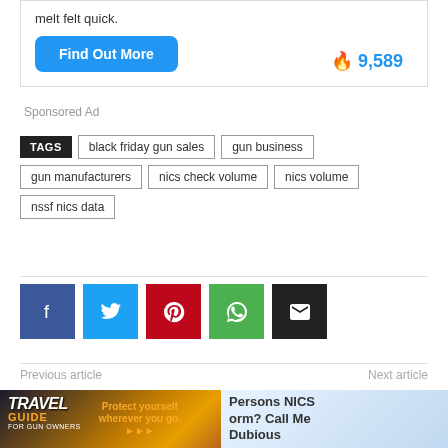melt felt quick.
Find Out More
9,589
Sponsored Ad
TAGS  black friday gun sales  gun business  gun manufacturers  nics check volume  nics volume  nssf nics data
[Figure (infographic): Social share buttons: Facebook (blue), Twitter (light blue), Pinterest (red), WhatsApp (green), Email (black)]
Previous article
Next article
[Figure (photo): Travel Guide for Gun Owners ad with text: Protect yourself wherever you go.]
Persons NICS orm? Call Me Dubious